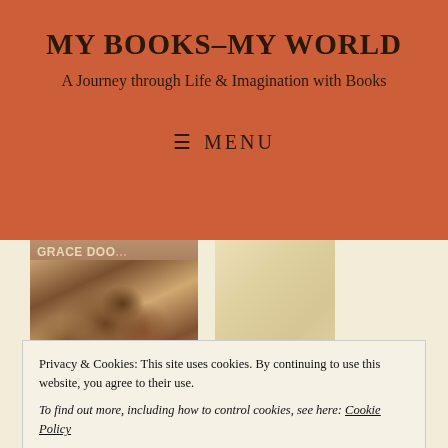MY BOOKS–MY WORLD
A Journey through Life & Imagination with Books
≡ MENU
[Figure (photo): Partial book cover showing text 'GRACE DOO...' with a muscular figure, sepia toned]
Privacy & Cookies: This site uses cookies. By continuing to use this website, you agree to their use.
To find out more, including how to control cookies, see here: Cookie Policy
Close and accept